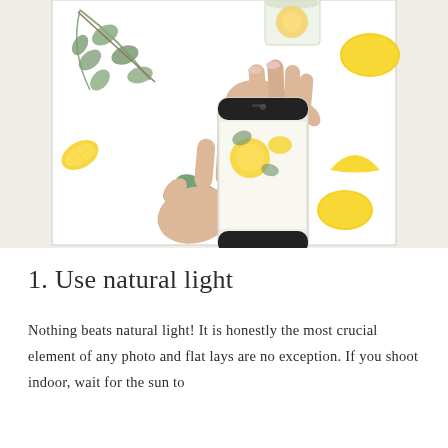[Figure (photo): Overhead flat-lay photo of two hands holding a white smartphone photographing lemons, eucalyptus leaves, and lemon slices on a white background. The phone screen shows the scene being captured.]
1. Use natural light
Nothing beats natural light! It is honestly the most crucial element of any photo and flat lays are no exception. If you shoot indoor, wait for the sun to